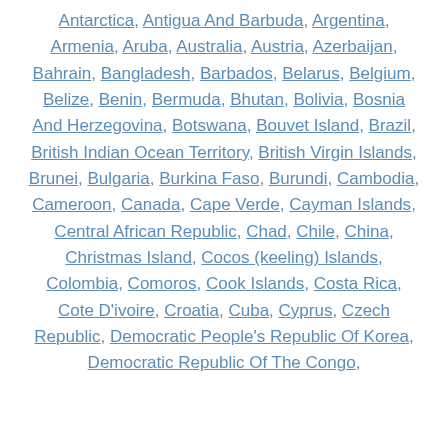Antarctica, Antigua And Barbuda, Argentina, Armenia, Aruba, Australia, Austria, Azerbaijan, Bahrain, Bangladesh, Barbados, Belarus, Belgium, Belize, Benin, Bermuda, Bhutan, Bolivia, Bosnia And Herzegovina, Botswana, Bouvet Island, Brazil, British Indian Ocean Territory, British Virgin Islands, Brunei, Bulgaria, Burkina Faso, Burundi, Cambodia, Cameroon, Canada, Cape Verde, Cayman Islands, Central African Republic, Chad, Chile, China, Christmas Island, Cocos (keeling) Islands, Colombia, Comoros, Cook Islands, Costa Rica, Cote D'ivoire, Croatia, Cuba, Cyprus, Czech Republic, Democratic People's Republic Of Korea, Democratic Republic Of The Congo,